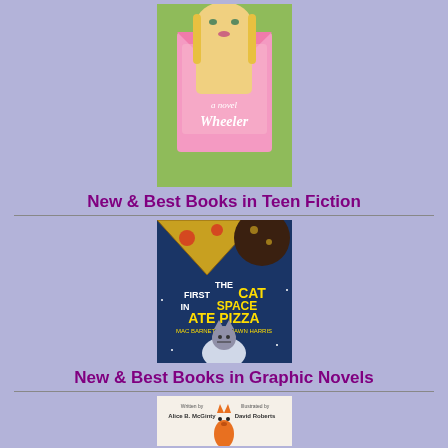[Figure (illustration): Book cover: 'I Kissed Shara Wheeler' — a novel, showing a blonde girl holding a pink envelope with red lips on it]
New & Best Books in Teen Fiction
[Figure (illustration): Book cover: 'The First Cat in Space Ate Pizza' by Mac Barnett + Shawn Harris — colorful graphic novel cover with a cat astronaut and pizza in space]
New & Best Books in Graphic Novels
[Figure (illustration): Partial book cover showing 'Written by Alice B. McGinty' and 'Illustrated by David Roberts' with an orange cat illustration, partially visible at bottom of page]